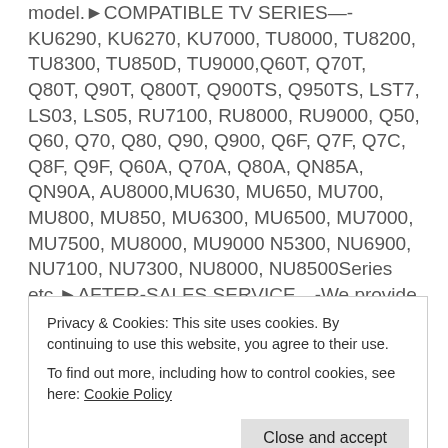model.►COMPATIBLE TV SERIES—-KU6290, KU6270, KU7000, TU8000, TU8200, TU8300, TU850D, TU9000,Q60T, Q70T, Q80T, Q90T, Q800T, Q900TS, Q950TS, LST7, LS03, LS05, RU7100, RU8000, RU9000, Q50, Q60, Q70, Q80, Q90, Q900, Q6F, Q7F, Q7C, Q8F, Q9F, Q60A, Q70A, Q80A, QN85A, QN90A, AU8000,MU630, MU650, MU700, MU800, MU850, MU6300, MU6500, MU7000, MU7500, MU8000, MU9000 N5300, NU6900, NU7100, NU7300, NU8000, NU8500Series etc.►AFTER-SALES SERVICE—-We provide a 180 days warranty return service, you can
Privacy & Cookies: This site uses cookies. By continuing to use this website, you agree to their use. To find out more, including how to control cookies, see here: Cookie Policy
evaluating and analyzing in detail more than 59,424